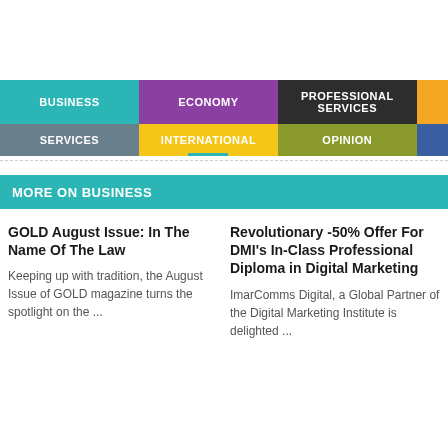BUSINESS | ECONOMY | PROFESSIONAL SERVICES | SERVICES | INTERNATIONAL | OPINION
MORE ON BUSINESS
GOLD August Issue: In The Name Of The Law
Keeping up with tradition, the August Issue of GOLD magazine turns the spotlight on the ...
Revolutionary -50% Offer For DMI's In-Class Professional Diploma in Digital Marketing
ImarComms Digital, a Global Partner of the Digital Marketing Institute is delighted ...